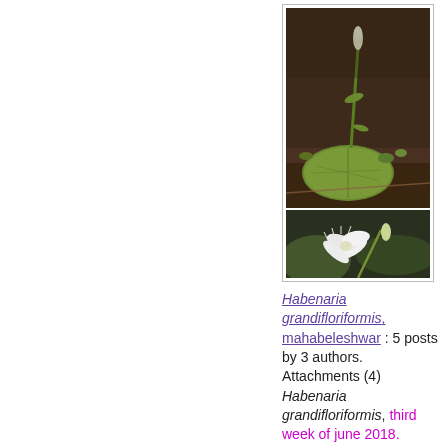[Figure (photo): Two photographs of Habenaria grandifloriformis plant: top image shows the plant with a single white bud on a green stem with a large round leaf, against dark soil background; bottom image shows a close-up of white orchid flower with multiple petals.]
Habenaria grandifloriformis, mahabeleshwar : 5 posts by 3 authors. Attachments (4) Habenaria grandifloriformis, third week of june 2018. Mahabeleshwar